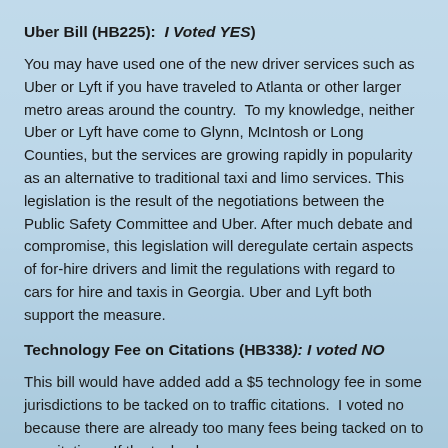Uber Bill (HB225):  I Voted YES)
You may have used one of the new driver services such as Uber or Lyft if you have traveled to Atlanta or other larger metro areas around the country.  To my knowledge, neither Uber or Lyft have come to Glynn, McIntosh or Long Counties, but the services are growing rapidly in popularity as an alternative to traditional taxi and limo services. This legislation is the result of the negotiations between the Public Safety Committee and Uber. After much debate and compromise, this legislation will deregulate certain aspects of for-hire drivers and limit the regulations with regard to cars for hire and taxis in Georgia. Uber and Lyft both support the measure.
Technology Fee on Citations (HB338): I voted NO
This bill would have added add a $5 technology fee in some jurisdictions to be tacked on to traffic citations.  I voted no because there are already too many fees being tacked on to our citations. If the technology